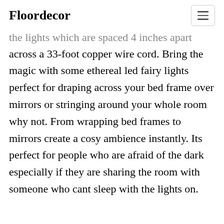Floordecor
the lights which are spaced 4 inches apart across a 33-foot copper wire cord. Bring the magic with some ethereal led fairy lights perfect for draping across your bed frame over mirrors or stringing around your whole room why not. From wrapping bed frames to mirrors create a cosy ambience instantly. Its perfect for people who are afraid of the dark especially if they are sharing the room with someone who cant sleep with the lights on.